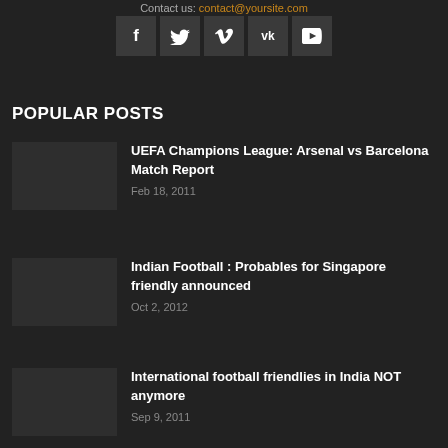Contact us: contact@yoursite.com
[Figure (infographic): Row of 5 social media icon buttons (Facebook, Twitter, Vimeo, VK, YouTube) on dark background]
POPULAR POSTS
UEFA Champions League: Arsenal vs Barcelona Match Report — Feb 18, 2011
Indian Football : Probables for Singapore friendly announced — Oct 2, 2012
International football friendlies in India NOT anymore — Sep 9, 2011